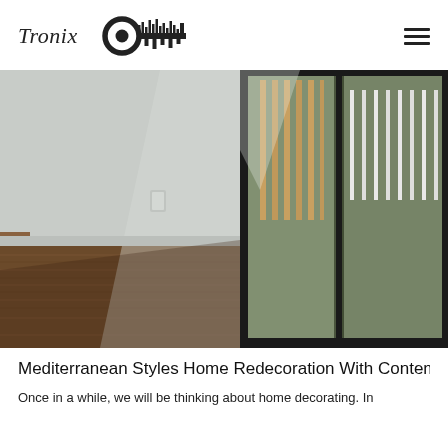Tronix [logo with key icon]
[Figure (photo): Interior room photo showing wooden flooring, light grey walls, a wall light switch, and large floor-to-ceiling sliding glass doors with dark frames revealing a balcony with vertical wooden slats and greenery outside.]
Mediterranean Styles Home Redecoration With Contemporary Bathr
Once in a while, we will be thinking about home decorating. In